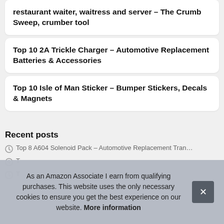restaurant waiter, waitress and server – The Crumb Sweep, crumber tool
Top 10 2A Trickle Charger – Automotive Replacement Batteries & Accessories
Top 10 Isle of Man Sticker – Bumper Stickers, Decals & Magnets
Recent posts
Top 8 A604 Solenoid Pack – Automotive Replacement Tran…
T…
T…
As an Amazon Associate I earn from qualifying purchases. This website uses the only necessary cookies to ensure you get the best experience on our website. More information